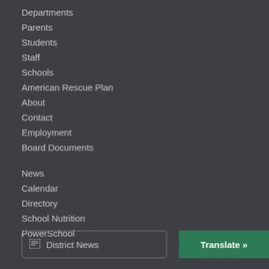Departments
Parents
Students
Staff
Schools
American Rescue Plan
About
Contact
Employment
Board Documents
News
Calendar
Directory
School Nutrition
PowerSchool
District News
Translate »